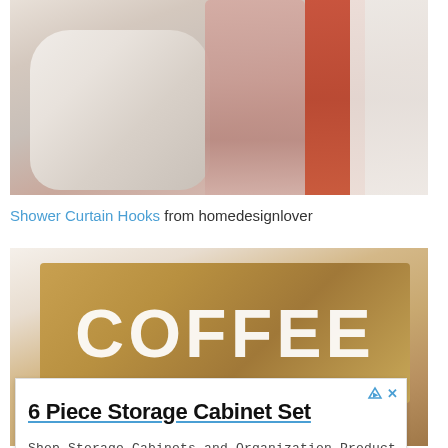[Figure (photo): Photo of a white leather handbag, a pink fringe scarf, a rust/orange garment, and a white garment hanging on hooks against a light background.]
Shower Curtain Hooks  from homedesignlover
[Figure (photo): Photo of a rustic wooden sign with the word COFFEE painted in large white letters.]
6 Piece Storage Cabinet Set
Shop Storage Cabinets and Organization Product
Inval America
Open